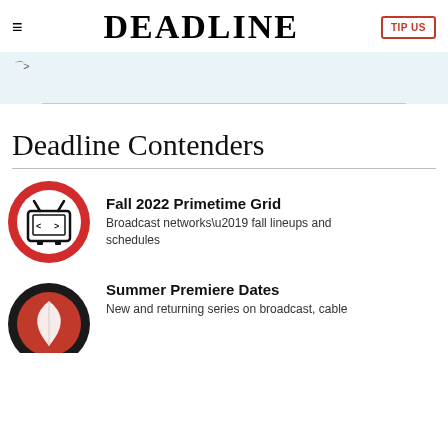DEADLINE
[Figure (screenshot): Light blue banner area with a horizontal divider line, partially showing truncated text]
Deadline Contenders
[Figure (illustration): Red circle icon with a TV set graphic showing antenna and code arrows on screen]
Fall 2022 Primetime Grid
Broadcast networks’ fall lineups and schedules
[Figure (illustration): Red circle icon with a leaf/feather graphic, partially cropped]
Summer Premiere Dates
New and returning series on broadcast, cable